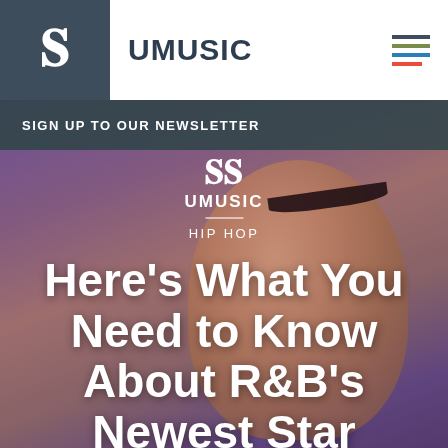UMUSIC
SIGN UP TO OUR NEWSLETTER
[Figure (photo): Close-up portrait of R&B artist Summer Walker with dramatic eyelashes, purple-toned lighting, smiling upward]
HIP HOP
Here’s What You Need to Know About R&B’s Newest Star Summer Walker